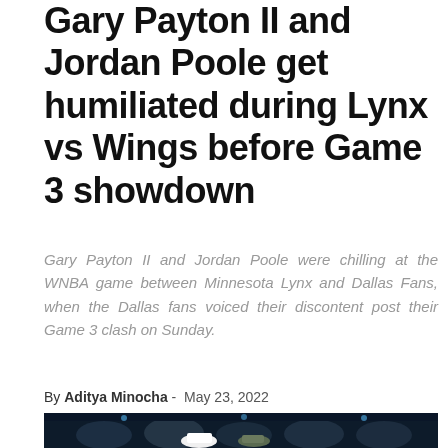Gary Payton II and Jordan Poole get humiliated during Lynx vs Wings before Game 3 showdown
Gary Payton II and Jordan Poole were chilling at the WNBA game between Minnesota Lynx and Dallas Fans, when the Dallas fans voiced their discontent post their Game 3 clash on Sunday.
By Aditya Minocha - May 23, 2022
[Figure (photo): Crowd scene at a sports arena showing spectators in the stands]